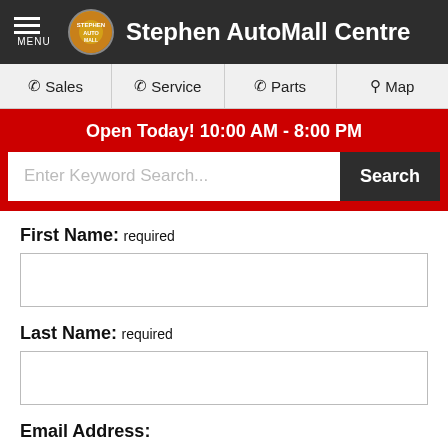Stephen AutoMall Centre
Sales | Service | Parts | Map
Open Today! 10:00 AM - 8:00 PM
Enter Keyword Search... Search
First Name: required
Last Name: required
Email Address:
Phone Number: required